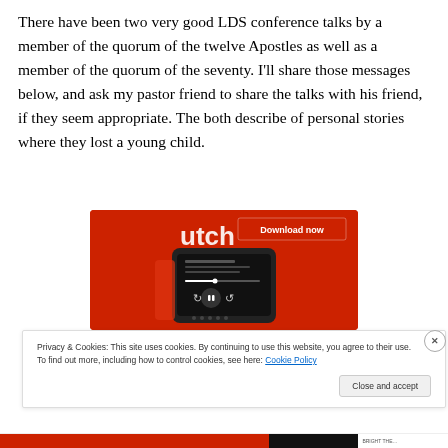There have been two very good LDS conference talks by a member of the quorum of the twelve Apostles as well as a member of the quorum of the seventy. I'll share those messages below, and ask my pastor friend to share the talks with his friend, if they seem appropriate. The both describe of personal stories where they lost a young child.
[Figure (screenshot): App advertisement image showing a smartphone with a podcast/audio app open on a red background, with a 'Download now' button in the upper right.]
Privacy & Cookies: This site uses cookies. By continuing to use this website, you agree to their use.
To find out more, including how to control cookies, see here: Cookie Policy
Close and accept